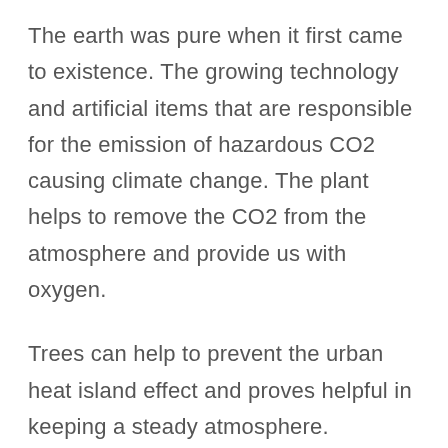The earth was pure when it first came to existence. The growing technology and artificial items that are responsible for the emission of hazardous CO2 causing climate change. The plant helps to remove the CO2 from the atmosphere and provide us with oxygen.
Trees can help to prevent the urban heat island effect and proves helpful in keeping a steady atmosphere.
2. Aesthetic Look: